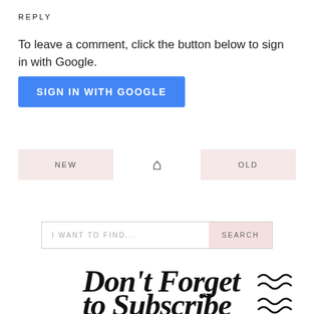REPLY
To leave a comment, click the button below to sign in with Google.
[Figure (screenshot): Blue 'SIGN IN WITH GOOGLE' button]
[Figure (infographic): Navigation bar with NEW button on left, home icon in center, OLD button on right]
[Figure (screenshot): Search bar with placeholder 'I WANT TO FIND...' and pink SEARCH button]
[Figure (illustration): Decorative script text reading 'Don't Forget to Subscribe' with squiggly line decorations]